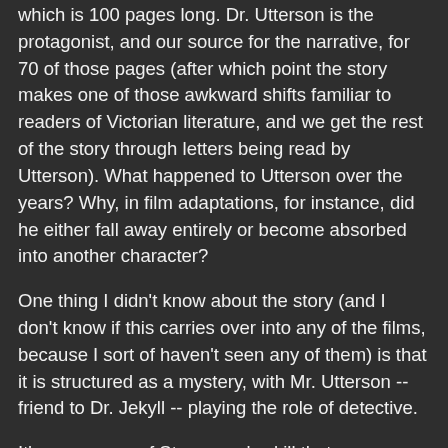which is 100 pages long. Dr. Utterson is the protagonist, and our source for the narrative, for 70 of those pages (after which point the story makes one of those awkward shifts familiar to readers of Victorian literature, and we get the rest of the story through letters being read by Utterson). What happened to Utterson over the years? Why, in film adaptations, for instance, did he either fall away entirely or become absorbed into another character?
One thing I didn't know about the story (and I don't know if this carries over into any of the films, because I sort of haven't seen any of them) is that it is structured as a mystery, with Mr. Utterson -- friend to Dr. Jekyll -- playing the role of detective.
It's a measure of Stevenson's skill that, even though I knew the solution to his mystery, I still found the book to be pretty thrilling. Utterson is an engaging character, even though he is almost completely free of any of the flamboyant affectations -- he only eats sandwiches, or he must take a nap at precisely noon, or he collects mice -- that would be bestowed on him if the story were written today. In fact, as described, Utterson sounds like a pretty dull guy, but